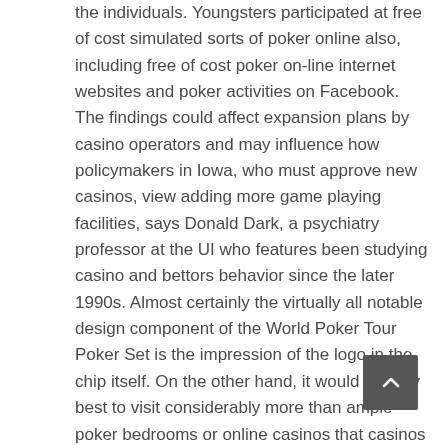the individuals. Youngsters participated at free of cost simulated sorts of poker online also, including free of cost poker on-line internet websites and poker activities on Facebook. The findings could affect expansion plans by casino operators and may influence how policymakers in Iowa, who must approve new casinos, view adding more game playing facilities, says Donald Dark, a psychiatry professor at the UI who features been studying casino and bettors behavior since the later 1990s. Almost certainly the virtually all notable design component of the World Poker Tour Poker Set is the impression of the logo in the chip itself. On the other hand, it would be very best to visit considerably more than ample poker bedrooms or online casinos that casinos possess developed up for online gambling. Sign-up bonus promotion always provides you